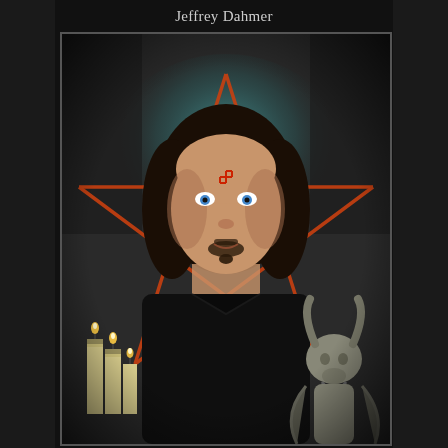Jeffrey Dahmer
[Figure (illustration): A dark occult illustration featuring a person's portrait centered within a large orange pentagram/pentacle star on a dark teal/grey background. The figure has long dark hair, a goatee, blue eyes, and a swastika symbol on their forehead. In the lower left corner are three white pillar candles. In the lower right corner is a Baphomet goat-head statue. The overall aesthetic is dark and occult-themed.]